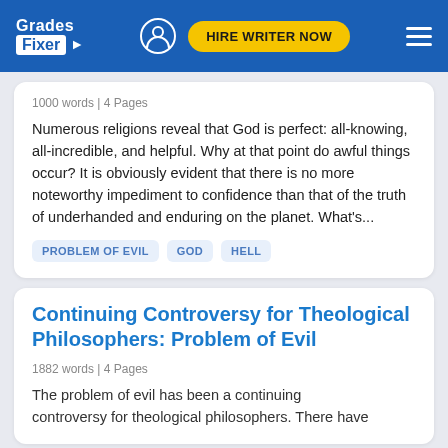Grades Fixer | HIRE WRITER NOW
1000 words | 4 Pages
Numerous religions reveal that God is perfect: all-knowing, all-incredible, and helpful. Why at that point do awful things occur? It is obviously evident that there is no more noteworthy impediment to confidence than that of the truth of underhanded and enduring on the planet. What's...
PROBLEM OF EVIL
GOD
HELL
Continuing Controversy for Theological Philosophers: Problem of Evil
1882 words | 4 Pages
The problem of evil has been a continuing controversy for theological philosophers. There have